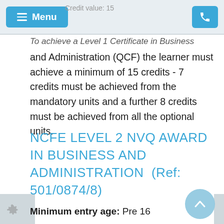Credit value: 15
Menu
To achieve a Level 1 Certificate in Business and Administration (QCF) the learner must achieve a minimum of 15 credits - 7 credits must be achieved from the mandatory units and a further 8 credits must be achieved from all the optional units.
NCFE LEVEL 2 NVQ AWARD IN BUSINESS AND ADMINISTRATION  (Ref: 501/0874/8)
Minimum entry age: Pre 16